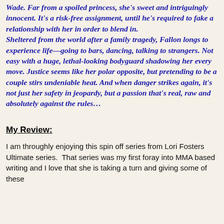Wade. Far from a spoiled princess, she's sweet and intriguingly innocent. It's a risk-free assignment, until he's required to fake a relationship with her in order to blend in. Sheltered from the world after a family tragedy, Fallon longs to experience life—going to bars, dancing, talking to strangers. Not easy with a huge, lethal-looking bodyguard shadowing her every move. Justice seems like her polar opposite, but pretending to be a couple stirs undeniable heat. And when danger strikes again, it's not just her safety in jeopardy, but a passion that's real, raw and absolutely against the rules…
My Review:
I am throughly enjoying this spin off series from Lori Fosters Ultimate series.  That series was my first foray into MMA based writing and I love that she is taking a turn and giving some of these